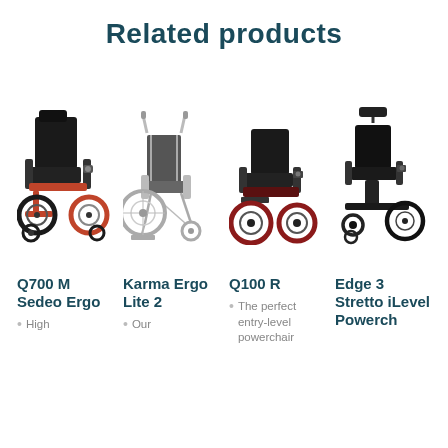Related products
[Figure (photo): Four wheelchair/powerchair products shown side by side: Q700 M Sedeo Ergo (large power wheelchair with red frame), Karma Ergo Lite 2 (manual folding wheelchair with silver frame), Q100 R (compact power wheelchair with dark frame), Edge 3 Stretto iLevel Powerch (power wheelchair with headrest)]
Q700 M Sedeo Ergo
High
Karma Ergo Lite 2
Our
Q100 R
The perfect entry-level powerchair
Edge 3 Stretto iLevel Powerch